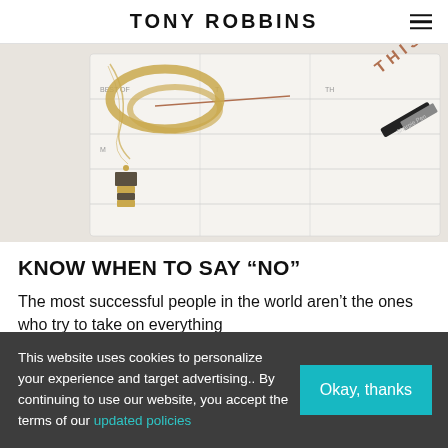TONY ROBBINS
[Figure (photo): Overhead flat-lay photo of a weekly planner with 'THIS WEEK' text, a Sharpie pen, gold bangles and earrings on a marble surface.]
KNOW WHEN TO SAY “NO”
The most successful people in the world aren’t the ones who try to take on everything
This website uses cookies to personalize your experience and target advertising.. By continuing to use our website, you accept the terms of our updated policies
Okay, thanks